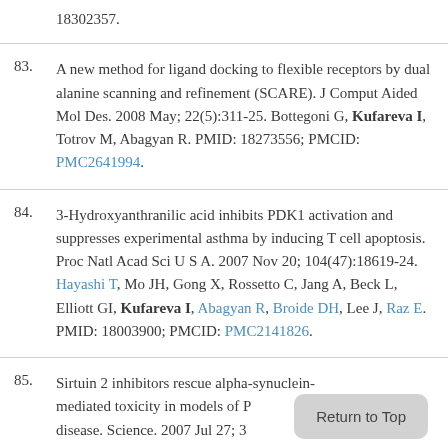18302357.
83. A new method for ligand docking to flexible receptors by dual alanine scanning and refinement (SCARE). J Comput Aided Mol Des. 2008 May; 22(5):311-25. Bottegoni G, Kufareva I, Totrov M, Abagyan R. PMID: 18273556; PMCID: PMC2641994.
84. 3-Hydroxyanthranilic acid inhibits PDK1 activation and suppresses experimental asthma by inducing T cell apoptosis. Proc Natl Acad Sci U S A. 2007 Nov 20; 104(47):18619-24. Hayashi T, Mo JH, Gong X, Rossetto C, Jang A, Beck L, Elliott GI, Kufareva I, Abagyan R, Broide DH, Lee J, Raz E. PMID: 18003900; PMCID: PMC2141826.
85. Sirtuin 2 inhibitors rescue alpha-synuclein-mediated toxicity in models of Parkinson's disease. Science. 2007 Jul 27; 3... 9. Outeiro TF, Kontopoulos E, Altmann SM,